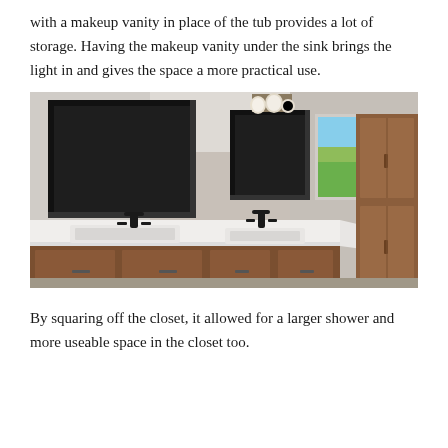with a makeup vanity in place of the tub provides a lot of storage. Having the makeup vanity under the sink brings the light in and gives the space a more practical use.
[Figure (photo): Interior rendering of a bathroom with two rectangular black-framed mirrors above a white double vanity countertop with dark wood cabinets, two black faucets, globe light fixtures, a window showing a green landscape view outside, and a tall dark wood storage cabinet on the right.]
By squaring off the closet, it allowed for a larger shower and more useable space in the closet too.